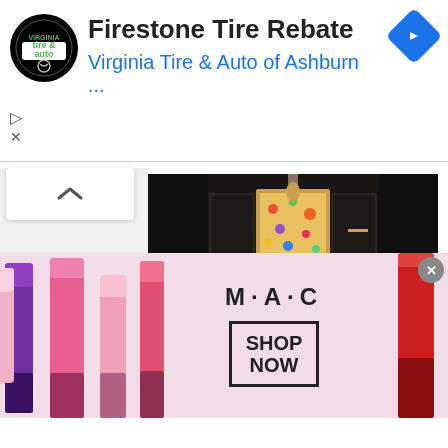[Figure (screenshot): Firestone Tire Rebate advertisement banner with Virginia Tire & Auto of Ashburn logo, ad title, subtitle link in blue, and a blue diamond navigation arrow icon]
[Figure (photo): Hotel entrance of Hyatt Centric Ginza Tokyo showing dark interior with colorful artwork, plants, and lantern]
HYATT CENTRIC GINZA TOKYO - JAPAN
Rooms & Suites: 164  /  Setting: City
/  Trip Type: Culture, Romantic Getaway, Shopping & Fashion
Begin your adventures at Hyatt
[Figure (screenshot): M·A·C cosmetics advertisement showing lipsticks in purple, pink, and red with M·A·C logo and SHOP NOW button]